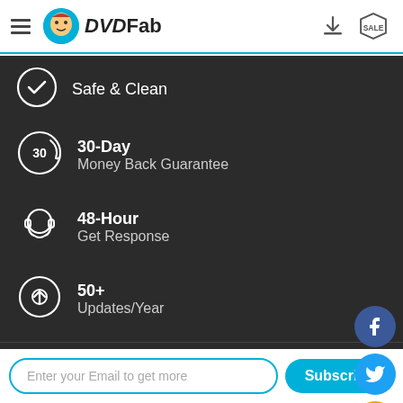DVDFab
Safe & Clean
30-Day Money Back Guarantee
48-Hour Get Response
50+ Updates/Year
About
Product
Enter your Email to get more
Subscribe